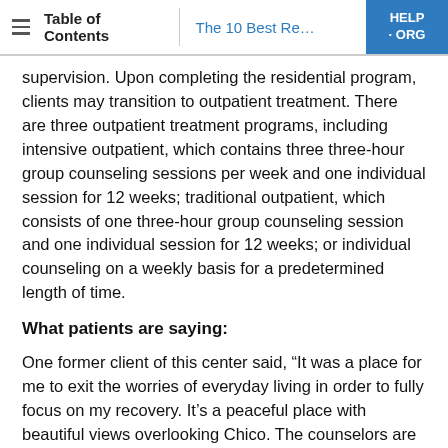Table of Contents | The 10 Best Re... | HELP-ORG
supervision. Upon completing the residential program, clients may transition to outpatient treatment. There are three outpatient treatment programs, including intensive outpatient, which contains three three-hour group counseling sessions per week and one individual session for 12 weeks; traditional outpatient, which consists of one three-hour group counseling session and one individual session for 12 weeks; or individual counseling on a weekly basis for a predetermined length of time.
What patients are saying:
One former client of this center said, “It was a place for me to exit the worries of everyday living in order to fully focus on my recovery. It’s a peaceful place with beautiful views overlooking Chico. The counselors are kind and supportive in every way and they continue to reach out even after your...